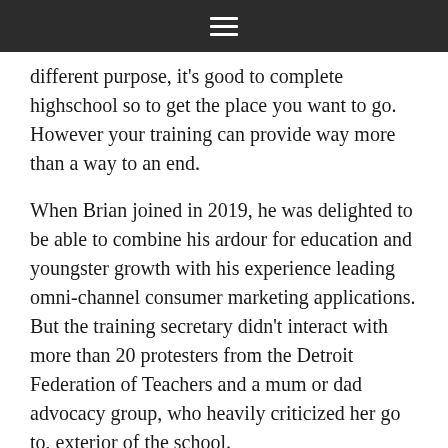☰
different purpose, it's good to complete highschool so to get the place you want to go. However your training can provide way more than a way to an end.
When Brian joined in 2019, he was delighted to be able to combine his ardour for education and youngster growth with his experience leading omni-channel consumer marketing applications. But the training secretary didn't interact with more than 20 protesters from the Detroit Federation of Teachers and a mum or dad advocacy group, who heavily criticized her go to, exterior of the school.